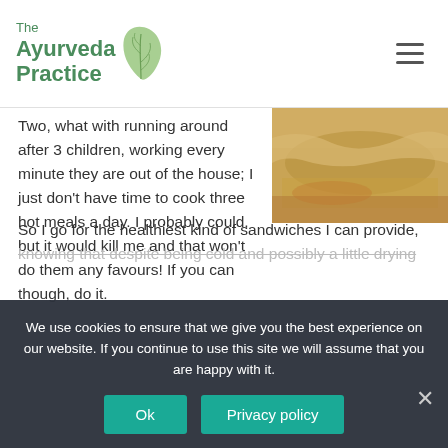The Ayurveda Practice
Two, what with running around after 3 children, working every minute they are out of the house; I just don't have time to cook three hot meals a day. I probably could, but it would kill me and that won't do them any favours! If you can though, do it.
[Figure (photo): Close-up photo of a sandwich or bread with filling, warm golden/brown tones]
So I go for the healthiest kind of sandwiches I can provide, knowing that despite being cold and possibly a little drying
We use cookies to ensure that we give you the best experience on our website. If you continue to use this site we will assume that you are happy with it.
Ok
Privacy policy